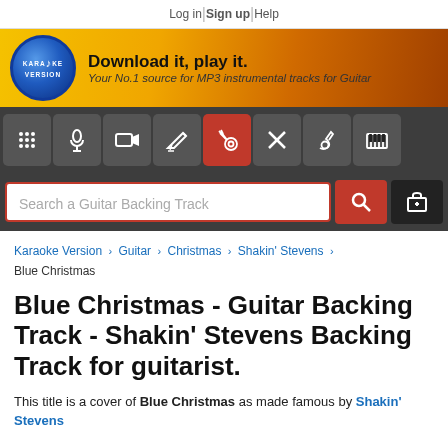Log in | Sign up | Help
[Figure (logo): Karaoke Version logo oval with musical note, alongside text: Download it, play it. Your No.1 source for MP3 instrumental tracks for Guitar]
[Figure (infographic): Dark toolbar with 8 icon buttons: grid/mixer, microphone, video camera, pencil/songwriter, guitar (active/red), X/strings, bass guitar, piano keys]
Search a Guitar Backing Track
Karaoke Version > Guitar > Christmas > Shakin' Stevens > Blue Christmas
Blue Christmas - Guitar Backing Track - Shakin' Stevens Backing Track for guitarist.
This title is a cover of Blue Christmas as made famous by Shakin' Stevens